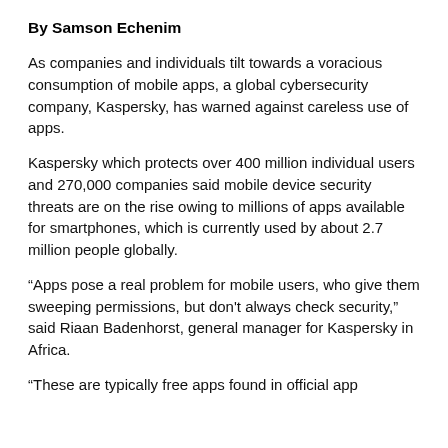By Samson Echenim
As companies and individuals tilt towards a voracious consumption of mobile apps, a global cybersecurity company, Kaspersky, has warned against careless use of apps.
Kaspersky which protects over 400 million individual users and 270,000 companies said mobile device security threats are on the rise owing to millions of apps available for smartphones, which is currently used by about 2.7 million people globally.
“Apps pose a real problem for mobile users, who give them sweeping permissions, but don't always check security,” said Riaan Badenhorst, general manager for Kaspersky in Africa.
“These are typically free apps found in official app